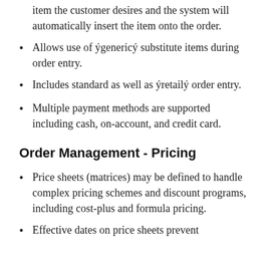item the customer desires and the system will automatically insert the item onto the order.
Allows use of ýgenericý substitute items during order entry.
Includes standard as well as ýretailý order entry.
Multiple payment methods are supported including cash, on-account, and credit card.
Order Management - Pricing
Price sheets (matrices) may be defined to handle complex pricing schemes and discount programs, including cost-plus and formula pricing.
Effective dates on price sheets prevent